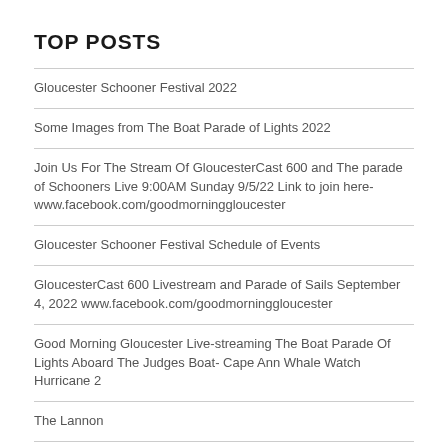TOP POSTS
Gloucester Schooner Festival 2022
Some Images from The Boat Parade of Lights 2022
Join Us For The Stream Of GloucesterCast 600 and The parade of Schooners Live 9:00AM Sunday 9/5/22 Link to join here- www.facebook.com/goodmorninggloucester
Gloucester Schooner Festival Schedule of Events
GloucesterCast 600 Livestream and Parade of Sails September 4, 2022 www.facebook.com/goodmorninggloucester
Good Morning Gloucester Live-streaming The Boat Parade Of Lights Aboard The Judges Boat- Cape Ann Whale Watch Hurricane 2
The Lannon
Farmhouse Fixer Wheeler Street: The Story Behind the